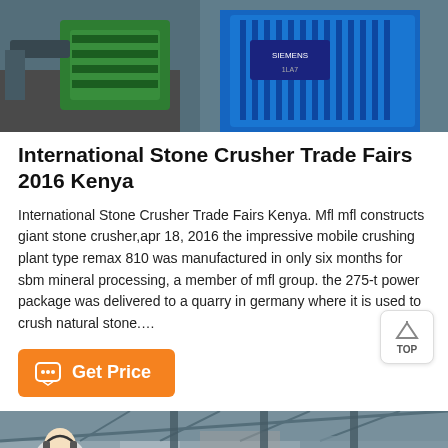[Figure (photo): Industrial stone crusher machinery with green and blue components, motors and crushing equipment]
International Stone Crusher Trade Fairs 2016 Kenya
International Stone Crusher Trade Fairs Kenya. Mfl mfl constructs giant stone crusher,apr 18, 2016 the impressive mobile crushing plant type remax 810 was manufactured in only six months for sbm mineral processing, a member of mfl group. the 275-t power package was delivered to a quarry in germany where it is used to crush natural stone....
[Figure (screenshot): Get Price orange button with chat icon]
[Figure (photo): Industrial warehouse or factory interior with a person (customer service representative) in foreground, with Message and Online Chat orange buttons at bottom]